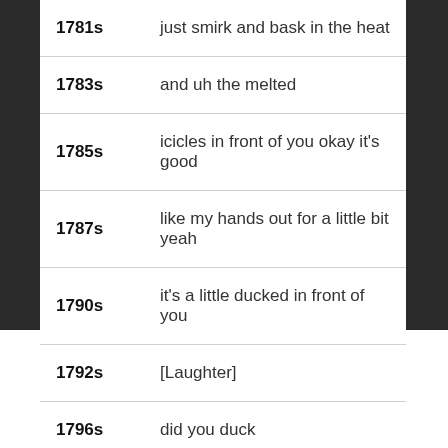| Timestamp | Transcript |
| --- | --- |
| 1781s | just smirk and bask in the heat |
| 1783s | and uh the melted |
| 1785s | icicles in front of you okay it's good |
| 1787s | like my hands out for a little bit yeah |
| 1790s | it's a little ducked in front of you |
| 1792s | [Laughter] |
| 1796s | did you duck |
| — | — — — — |